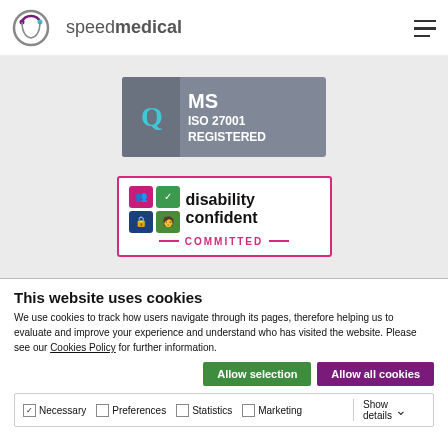[Figure (logo): Speed Medical logo with circular icon and text 'speedmedical']
[Figure (logo): QMS ISO 27001 REGISTERED certification badge]
[Figure (logo): Disability Confident COMMITTED badge with colored icons]
This website uses cookies
We use cookies to track how users navigate through its pages, therefore helping us to evaluate and improve your experience and understand who has visited the website. Please see our Cookies Policy for further information.
Allow selection | Allow all cookies
Necessary | Preferences | Statistics | Marketing | Show details